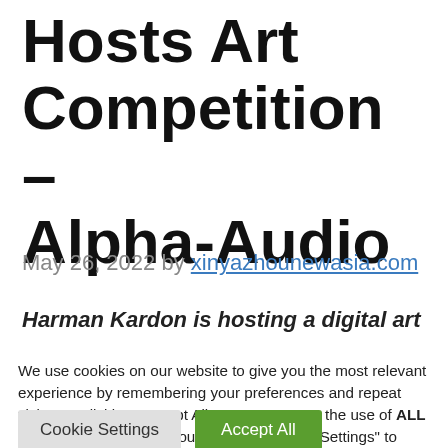Hosts Art Competition – Alpha-Audio
May 26, 2022 by xinyazhounewasia.com
Harman Kardon is hosting a digital art
We use cookies on our website to give you the most relevant experience by remembering your preferences and repeat visits. By clicking "Accept All", you consent to the use of ALL the cookies. However, you may visit "Cookie Settings" to provide a controlled consent.